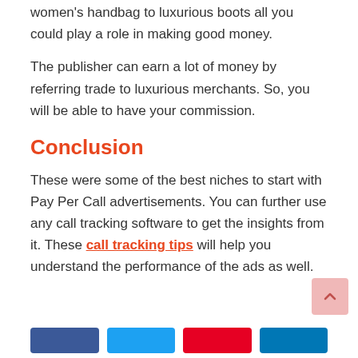women's handbag to luxurious boots all you could play a role in making good money.
The publisher can earn a lot of money by referring trade to luxurious merchants. So, you will be able to have your commission.
Conclusion
These were some of the best niches to start with Pay Per Call advertisements. You can further use any call tracking software to get the insights from it. These call tracking tips will help you understand the performance of the ads as well.